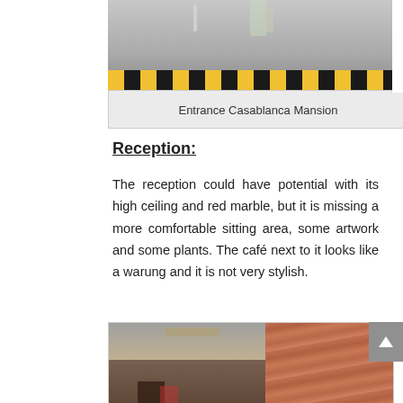[Figure (photo): Entrance of Casablanca Mansion showing a road with yellow and black striped curb, a person walking, and some greenery in the background]
Entrance Casablanca Mansion
Reception:
The reception could have potential with its high ceiling and red marble, but it is missing a more comfortable sitting area, some artwork and some plants. The café next to it looks like a warung and it is not very stylish.
[Figure (photo): Interior of the hotel reception area showing a high ceiling with modern fixtures, red/orange marble walls on the right, and dark wooden elements]